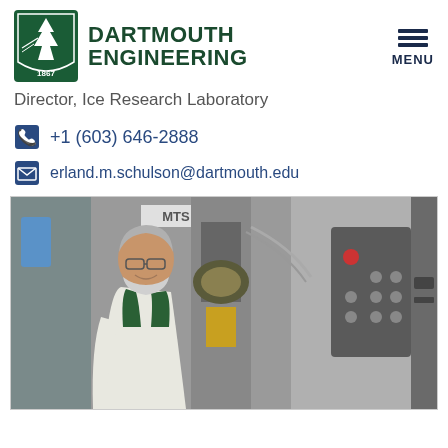DARTMOUTH ENGINEERING
Director, Ice Research Laboratory
+1 (603) 646-2888
erland.m.schulson@dartmouth.edu
[Figure (photo): Older man with white beard and glasses, wearing a white shirt and green vest, standing in front of a large MTS testing machine in a laboratory setting, smiling at the camera.]